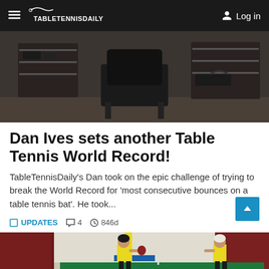TableTennisDaily — Log in
[Figure (photo): Dark room with a chair visible against a shelving background]
Dan Ives sets another Table Tennis World Record!
TableTennisDaily's Dan took on the epic challenge of trying to break the World Record for 'most consecutive bounces on a table tennis bat'. He took...
UPDATES  4  846d
[Figure (photo): Two table tennis players in yellow shirts playing at a table tennis table in a hall with dark red curtains]